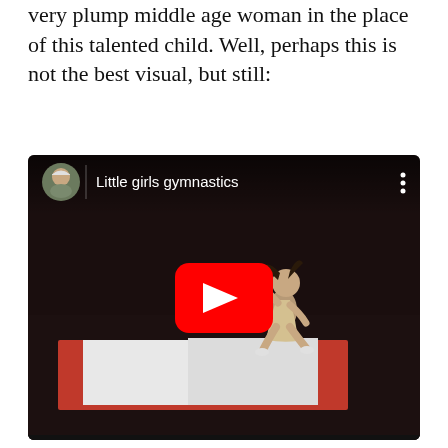very plump middle age woman in the place of this talented child. Well, perhaps this is not the best visual, but still:
[Figure (screenshot): Embedded YouTube video thumbnail showing a young girl performing gymnastics on a mat on a dark stage. The video is titled 'Little girls gymnastics'. A red YouTube play button is centered over the thumbnail. The top bar shows a user avatar (elderly man), the video title, and a three-dot menu icon.]